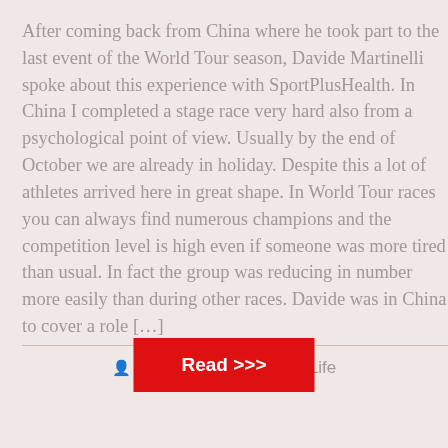After coming back from China where he took part to the last event of the World Tour season, Davide Martinelli spoke about this experience with SportPlusHealth. In China I completed a stage race very hard also from a psychological point of view. Usually by the end of October we are already in holiday. Despite this a lot of athletes arrived here in great shape. In World Tour races you can always find numerous champions and the competition level is high even if someone was more tired than usual. In fact the group was reducing in number more easily than during other races. Davide was in China to cover a role […]
SPH   News, Pro Life
Read >>>